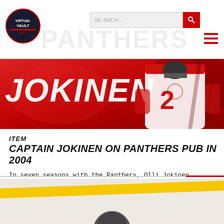Virtual Vault - Panthers site header with search and navigation
[Figure (photo): Hero banner image of Olli Jokinen in Florida Panthers uniform number 12, against red background with JOKINEN text]
ITEM
CAPTAIN JOKINEN ON PANTHERS PUB IN 2004
In seven seasons with the Panthers, Olli Jokinen vaulted to the top of many offensive categories, including game-winning goals: 36. He also recorded four hat tricks. And he served as team captain from ...
VIEW ITEM
[Figure (photo): Partial image of another Panthers item at bottom of page, showing yellow stripe and partial figure]